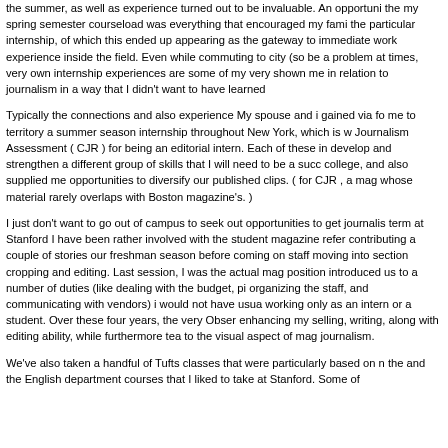the summer, as well as experience turned out to be invaluable. An opportuni the my spring semester courseload was everything that encouraged my fami the particular internship, of which this ended up appearing as the gateway to immediate work experience inside the field. Even while commuting to city (so be a problem at times, very own internship experiences are some of my very shown me in relation to journalism in a way that I didn't want to have learned
Typically the connections and also experience My spouse and i gained via fo me to territory a summer season internship throughout New York, which is w Journalism Assessment ( CJR ) for being an editorial intern. Each of these in develop and strengthen a different group of skills that I will need to be a succ college, and also supplied me opportunities to diversify our published clips. ( for CJR , a mag whose material rarely overlaps with Boston magazine's. )
I just don't want to go out of campus to seek out opportunities to get journalis term at Stanford I have been rather involved with the student magazine refer contributing a couple of stories our freshman season before coming on staff moving into section cropping and editing. Last session, I was the actual mag position introduced us to a number of duties (like dealing with the budget, pi organizing the staff, and communicating with vendors) i would not have usua working only as an intern or a student. Over these four years, the very Obser enhancing my selling, writing, along with editing ability, while furthermore tea to the visual aspect of mag journalism.
We've also taken a handful of Tufts classes that were particularly based on n the and the English department courses that I liked to take at Stanford. Some of